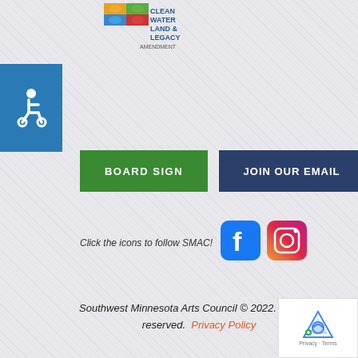[Figure (logo): Clean Water Land & Legacy Amendment logo with colorful icon]
[Figure (logo): Accessibility wheelchair icon in blue square]
BOARD SIGN
JOIN OUR EMAIL
Click the icons to follow SMAC!
[Figure (logo): Facebook and Instagram social media icons]
Southwest Minnesota Arts Council © 2022. All rights reserved.  Privacy Policy